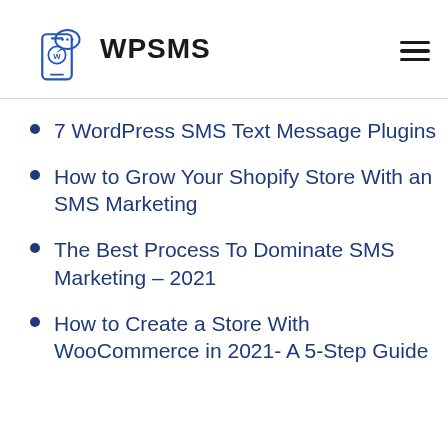WPSMS
7 WordPress SMS Text Message Plugins
How to Grow Your Shopify Store With an SMS Marketing
The Best Process To Dominate SMS Marketing – 2021
How to Create a Store With WooCommerce in 2021- A 5-Step Guide